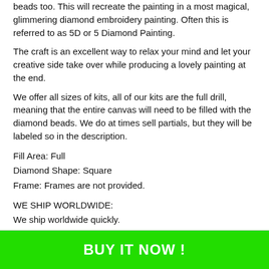beads too. This will recreate the painting in a most magical, glimmering diamond embroidery painting. Often this is referred to as 5D or 5 Diamond Painting.
The craft is an excellent way to relax your mind and let your creative side take over while producing a lovely painting at the end.
We offer all sizes of kits, all of our kits are the full drill, meaning that the entire canvas will need to be filled with the diamond beads. We do at times sell partials, but they will be labeled so in the description.
Fill Area: Full
Diamond Shape: Square
Frame: Frames are not provided.
WE SHIP WORLDWIDE:
We ship worldwide quickly.
BUY IT NOW !